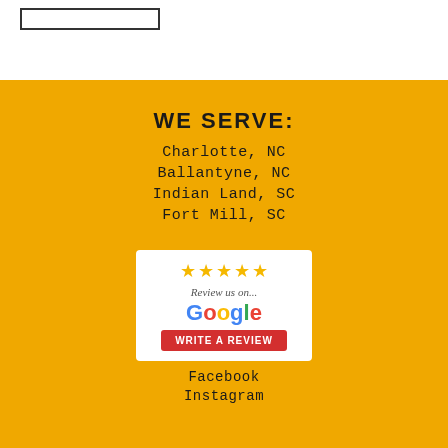[Figure (other): Rectangular outline box in the top white section]
WE SERVE:
Charlotte, NC
Ballantyne, NC
Indian Land, SC
Fort Mill, SC
[Figure (other): Google review widget with 5 gold stars, 'Review us on...' text, Google logo in multicolor, and a red 'WRITE A REVIEW' button]
Facebook
Instagram